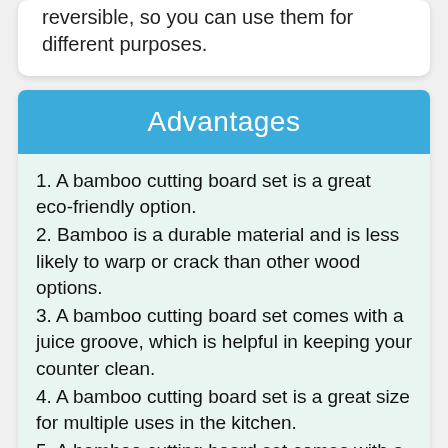reversible, so you can use them for different purposes.
Advantages
1. A bamboo cutting board set is a great eco-friendly option.
2. Bamboo is a durable material and is less likely to warp or crack than other wood options.
3. A bamboo cutting board set comes with a juice groove, which is helpful in keeping your counter clean.
4. A bamboo cutting board set is a great size for multiple uses in the kitchen.
5. A bamboo cutting board set comes with a heavy duty serving tray with handles, which is